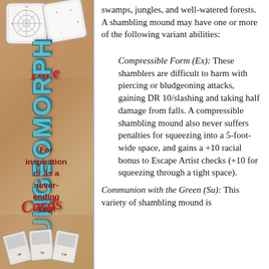[Figure (illustration): Dungeomorph Dice product advertisement sidebar with vertical DUNGEOMORPH text in teal, Dice and Cards script labels in red, tagline text, dice image at top, and cards image at bottom]
swamps, jungles, and well-watered forests. A shambling mound may have one or more of the following variant abilities:
Compressible Form (Ex): These shamblers are difficult to harm with piercing or bludgeoning attacks, gaining DR 10/slashing and taking half damage from falls. A compressible shambling mound also never suffers penalties for squeezing into a 5-foot-wide space, and gains a +10 racial bonus to Escape Artist checks (+10 for squeezing through a tight space).
Communion with the Green (Su): This variety of shambling mound is